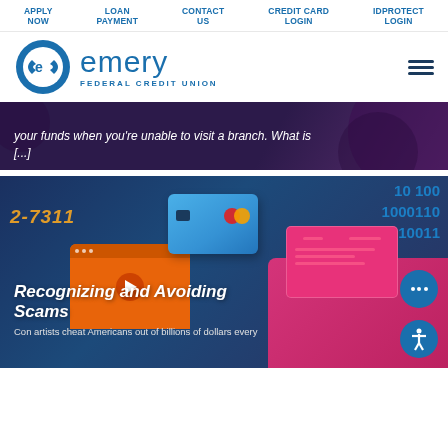APPLY NOW | LOAN PAYMENT | CONTACT US | CREDIT CARD LOGIN | IDPROTECT LOGIN
[Figure (logo): Emery Federal Credit Union logo with circular blue arrow emblem and text]
[Figure (photo): Dark purple background card with italic white text: 'your funds when you're unable to visit a branch. What is [...]']
[Figure (illustration): Digital security illustration with binary numbers, credit card, orange video window, pink keyboard and scam article imagery]
Recognizing and Avoiding Scams
Con artists cheat Americans out of billions of dollars every